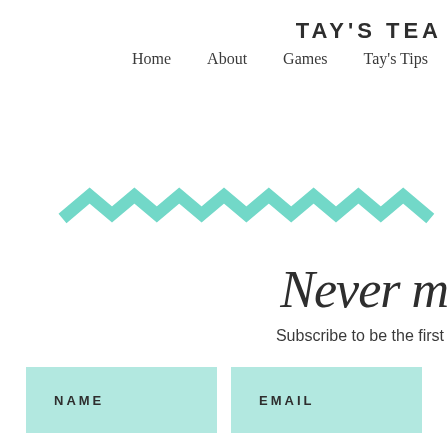TAY'S TEA
Home   About   Games   Tay's Tips
[Figure (illustration): Teal/mint colored zigzag chevron decorative divider line]
Never m
Subscribe to be the first
NAME   EMAIL